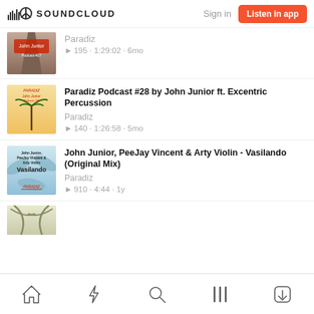SOUNDCLOUD  Sign in  Listen in app
[Figure (screenshot): Partial track thumbnail with pink/brown road design labeled John Junior Podcast #17]
Paradiz
▶ 195 · 1:29:02 · 6mo
[Figure (screenshot): Track thumbnail with palm tree and sunset, labeled PARADIZ John Junior Podcast #28]
Paradiz Podcast #28 by John Junior ft. Excentric Percussion
Paradiz
▶ 140 · 1:26:58 · 5mo
[Figure (screenshot): Track thumbnail with blue floral/leaf design, labeled John Junior, PeeJay Vincent & Arty Violin Vasilando PARADIZ]
John Junior, PeeJay Vincent & Arty Violin - Vasilando (Original Mix)
Paradiz
▶ 910 · 4:44 · 1y
[Figure (screenshot): Partial track thumbnail with tropical leaf design]